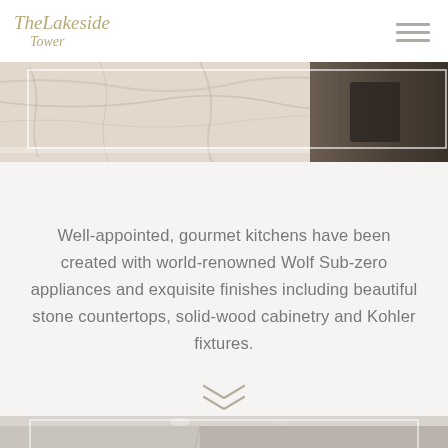The Lakeside Tower
[Figure (photo): Top kitchen photo strip showing marble/granite countertop with dark cabinetry and appliances]
Well-appointed, gourmet kitchens have been created with world-renowned Wolf Sub-zero appliances and exquisite finishes including beautiful stone countertops, solid-wood cabinetry and Kohler fixtures.
[Figure (illustration): Double chevron / scroll-down indicator arrow]
[Figure (photo): Bottom photo strip showing interior room with white walls and neutral tones]